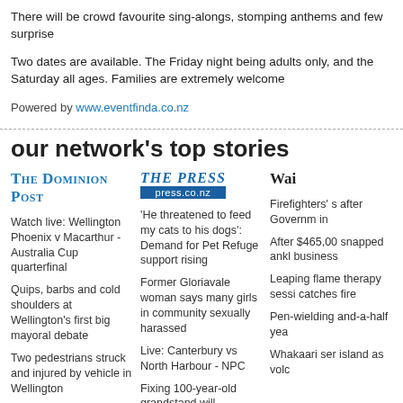There will be crowd favourite sing-alongs, stomping anthems and few surprises
Two dates are available. The Friday night being adults only, and the Saturday all ages. Families are extremely welcome
Powered by www.eventfinda.co.nz
our network's top stories
[Figure (logo): The Dominion Post logo]
[Figure (logo): The Press / press.co.nz logo]
[Figure (logo): Wai... (partially visible) logo]
Watch live: Wellington Phoenix v Macarthur - Australia Cup quarterfinal
Quips, barbs and cold shoulders at Wellington's first big mayoral debate
Two pedestrians struck and injured by vehicle in Wellington
What on earth was Labour thinking with its ill-advised 'KiwiSaver tax'?
Firefighters' strike action called off after Government minister brought in
'He threatened to feed my cats to his dogs': Demand for Pet Refuge support rising
Former Gloriavale woman says many girls in community sexually harassed
Live: Canterbury vs North Harbour - NPC
Fixing 100-year-old grandstand will 'financially cripple' racecourse
At least 14 motorists filled petrol cars with diesel after bowser botch-up
Firefighters' s... after Governm... in
After $465,00... snapped ankl... business
Leaping flame... therapy sessi... catches fire
Pen-wielding ... and-a-half yea...
Whakaari ser... island as volc...